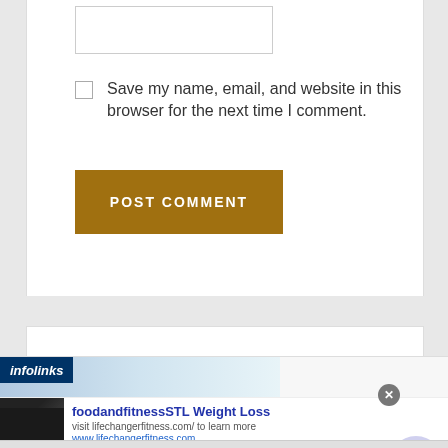[Figure (screenshot): Text input box at top of comment form]
Save my name, email, and website in this browser for the next time I comment.
[Figure (screenshot): POST COMMENT button in dark golden/olive color]
[Figure (screenshot): Infolinks advertisement banner for foodandfitness STL Weight Loss, with link to lifechangerfitness.com]